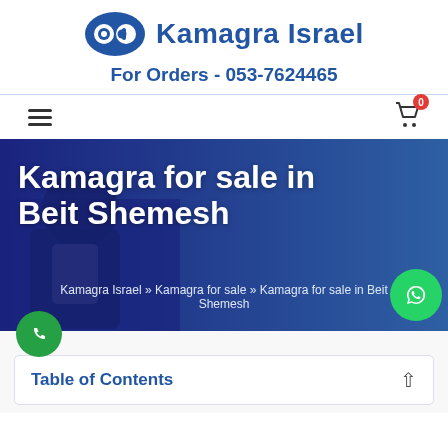[Figure (logo): Kamagra Israel logo with blue circular 'ap' icon and bold blue text 'Kamagra Israel']
For Orders - 053-7624465
[Figure (screenshot): Navigation bar with hamburger menu icon on left and shopping cart icon with badge '0' on right]
Kamagra for sale in Beit Shemesh
Kamagra Israel » Kamagra for sale » Kamagra for sale in Beit Shemesh
Table of Contents